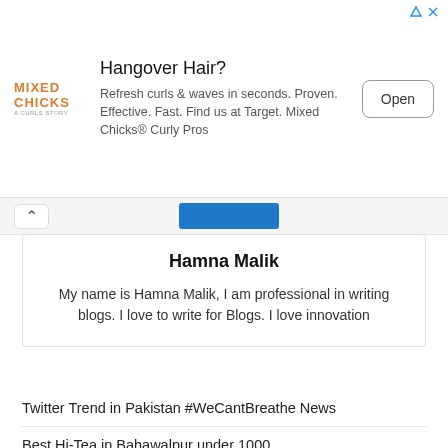[Figure (screenshot): Advertisement banner for Mixed Chicks hair product. Shows Mixed Chicks logo, headline 'Hangover Hair?', body text 'Refresh curls & waves in seconds. Proven. Effective. Fast. Find us at Target. Mixed Chicks® Curly Pros', and an Open button.]
Hamna Malik
My name is Hamna Malik, I am professional in writing blogs. I love to write for Blogs. I love innovation
Twitter Trend in Pakistan #WeCantBreathe News
Best Hi-Tea in Bahawalpur under 1000
Internet Service not working in Lahore 19 August 2022
Best Universities in Pakistan for Computer Science